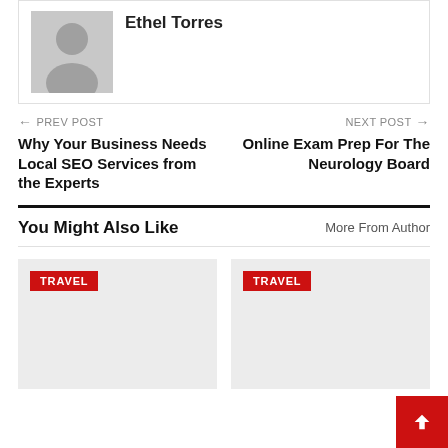[Figure (photo): Gray placeholder avatar image of a person silhouette]
Ethel Torres
← PREV POST
Why Your Business Needs Local SEO Services from the Experts
NEXT POST →
Online Exam Prep For The Neurology Board
You Might Also Like
More From Author
[Figure (photo): Travel category card placeholder image (left)]
[Figure (photo): Travel category card placeholder image (right)]